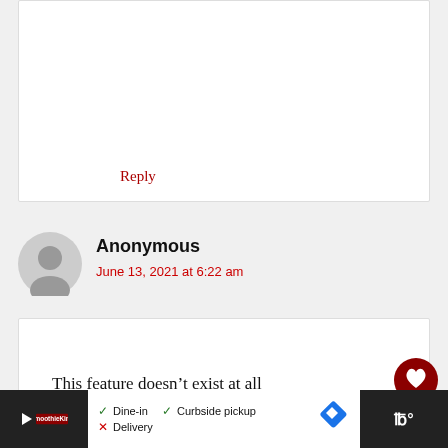Reply
Anonymous
June 13, 2021 at 6:22 am
This feature doesn’t exist at all
Reply
20
Dine-in  Curbside pickup  Delivery